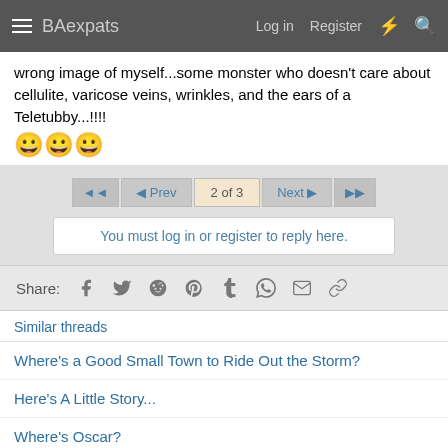BAexpats  Log in  Register
wrong image of myself...some monster who doesn't care about cellulite, varicose veins, wrinkles, and the ears of a Teletubby...!!!! 😀😀😀
◄◄  ◄ Prev  2 of 3  Next ►  ►►
You must log in or register to reply here.
Share:
Similar threads
Where's a Good Small Town to Ride Out the Storm?
Here's A Little Story...
Where's Oscar?
Here's Something: Table Service Charge